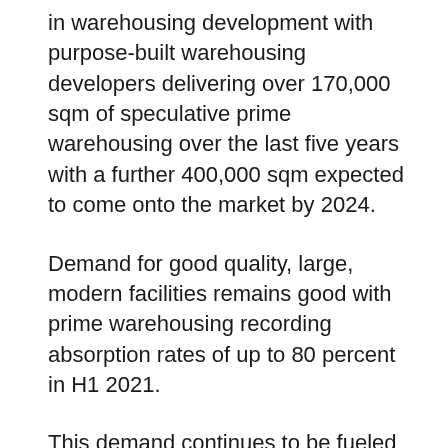in warehousing development with purpose-built warehousing developers delivering over 170,000 sqm of speculative prime warehousing over the last five years with a further 400,000 sqm expected to come onto the market by 2024.
Demand for good quality, large, modern facilities remains good with prime warehousing recording absorption rates of up to 80 percent in H1 2021.
This demand continues to be fueled by the agriculture, e-commerce and FMCG sectors as well as the record infrastructure developments witnessed across the country.
Anthony Havelock, Head of Occupier Services and Commercial Agency, Knight Frank Kenya, said that as a key regional hub, Nairobi's position in driving East African trade cannot be underestimated. “With key infrastructure projects